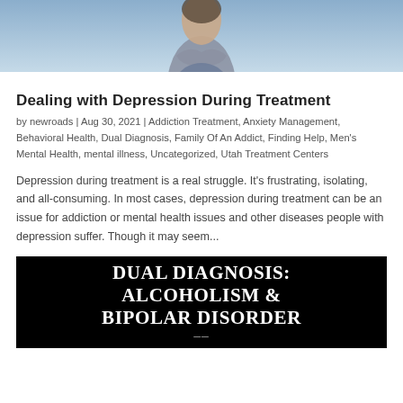[Figure (photo): Partial image of a person with arms crossed, showing upper body against a light blue/grey background. Only the lower portion of the photo is visible.]
Dealing with Depression During Treatment
by newroads | Aug 30, 2021 | Addiction Treatment, Anxiety Management, Behavioral Health, Dual Diagnosis, Family Of An Addict, Finding Help, Men's Mental Health, mental illness, Uncategorized, Utah Treatment Centers
Depression during treatment is a real struggle. It's frustrating, isolating, and all-consuming. In most cases, depression during treatment can be an issue for addiction or mental health issues and other diseases people with depression suffer. Though it may seem...
[Figure (photo): Black background image with bold white serif text reading: DUAL DIAGNOSIS: ALCOHOLISM & BIPOLAR DISORDER]